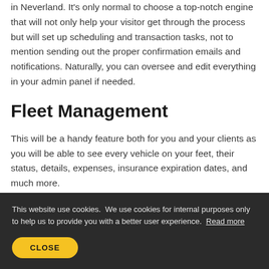in Neverland. It's only normal to choose a top-notch engine that will not only help your visitor get through the process but will set up scheduling and transaction tasks, not to mention sending out the proper confirmation emails and notifications. Naturally, you can oversee and edit everything in your admin panel if needed.
Fleet Management
This will be a handy feature both for you and your clients as you will be able to see every vehicle on your feet, their status, details, expenses, insurance expiration dates, and much more.
This website use cookies. We use cookies for internal purposes only to help us to provide you with a better user experience. Read more